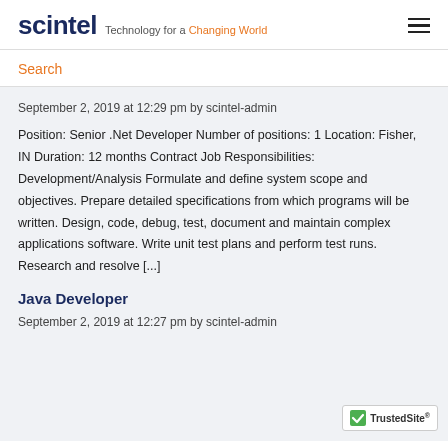scintel Technology for a Changing World
Search
September 2, 2019 at 12:29 pm by scintel-admin
Position: Senior .Net Developer Number of positions: 1 Location: Fisher, IN Duration: 12 months Contract Job Responsibilities: Development/Analysis Formulate and define system scope and objectives. Prepare detailed specifications from which programs will be written. Design, code, debug, test, document and maintain complex applications software. Write unit test plans and perform test runs. Research and resolve [...]
Java Developer
September 2, 2019 at 12:27 pm by scintel-admin